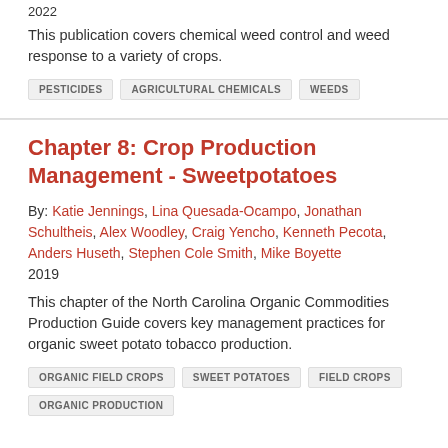2022
This publication covers chemical weed control and weed response to a variety of crops.
PESTICIDES
AGRICULTURAL CHEMICALS
WEEDS
Chapter 8: Crop Production Management - Sweetpotatoes
By: Katie Jennings, Lina Quesada-Ocampo, Jonathan Schultheis, Alex Woodley, Craig Yencho, Kenneth Pecota, Anders Huseth, Stephen Cole Smith, Mike Boyette
2019
This chapter of the North Carolina Organic Commodities Production Guide covers key management practices for organic sweet potato tobacco production.
ORGANIC FIELD CROPS
SWEET POTATOES
FIELD CROPS
ORGANIC PRODUCTION